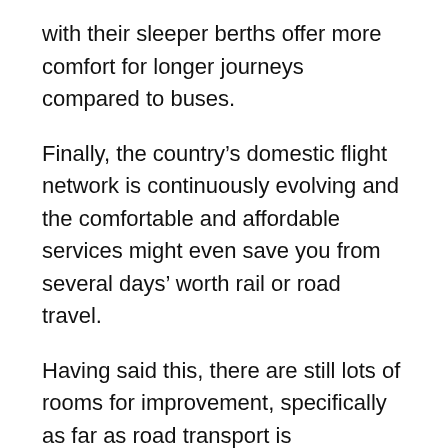with their sleeper berths offer more comfort for longer journeys compared to buses.
Finally, the country's domestic flight network is continuously evolving and the comfortable and affordable services might even save you from several days' worth rail or road travel.
Having said this, there are still lots of rooms for improvement, specifically as far as road transport is concerned.
Plane Travel
Plane travel is great for longer hauls, saving